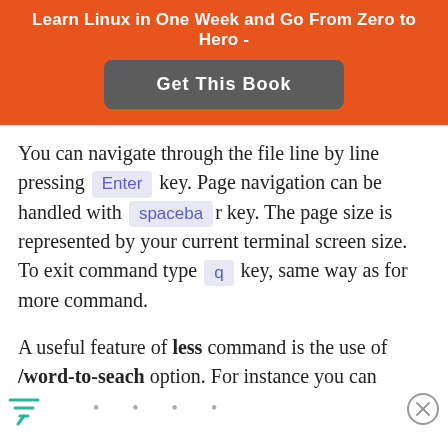Learn Linux in One Week and Go From Zero to Hero -
[Figure (other): Get This Book button]
You can navigate through the file line by line pressing Enter key. Page navigation can be handled with spacebar key. The page size is represented by your current terminal screen size. To exit command type q key, same way as for more command.
A useful feature of less command is the use of /word-to-seach option. For instance you can ...